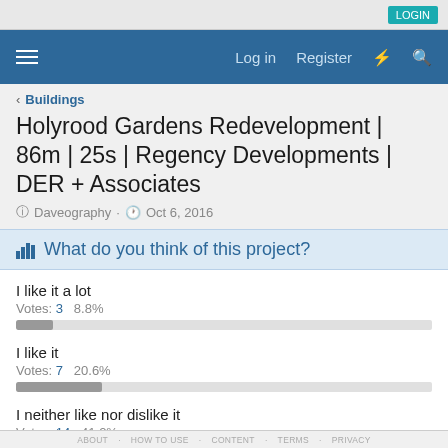Log in  Register
< Buildings
Holyrood Gardens Redevelopment | 86m | 25s | Regency Developments | DER + Associates
Daveography · Oct 6, 2016
What do you think of this project?
I like it a lot
Votes: 3   8.8%
I like it
Votes: 7   20.6%
I neither like nor dislike it
Votes: 14   41.2%
ABOUT   HOW TO USE   CONTENT   TERMS   PRIVACY